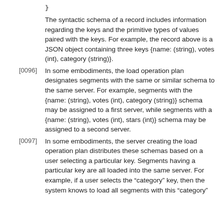}
The syntactic schema of a record includes information regarding the keys and the primitive types of values paired with the keys. For example, the record above is a JSON object containing three keys {name: (string), votes (int), category (string)}.
[0096] In some embodiments, the load operation plan designates segments with the same or similar schema to the same server. For example, segments with the {name: (string), votes (int), category (string)} schema may be assigned to a first server, while segments with a {name: (string), votes (int), stars (int)} schema may be assigned to a second server.
[0097] In some embodiments, the server creating the load operation plan distributes these schemas based on a user selecting a particular key. Segments having a particular key are all loaded into the same server. For example, if a user selects the “category” key, then the system knows to load all segments with this “category”